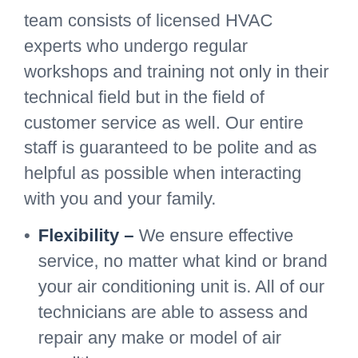team consists of licensed HVAC experts who undergo regular workshops and training not only in their technical field but in the field of customer service as well. Our entire staff is guaranteed to be polite and as helpful as possible when interacting with you and your family.
Flexibility – We ensure effective service, no matter what kind or brand your air conditioning unit is. All of our technicians are able to assess and repair any make or model of air conditioner.
Safety – We understand that our services are often performed inside your home, and as a result, we respect